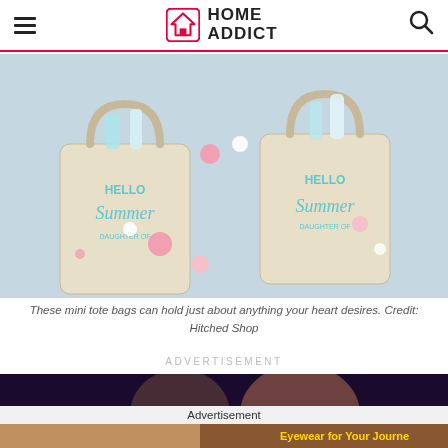HOME ADDICT
[Figure (photo): Two mini canvas tote bags labeled 'Hello Summer' with colorful pom poms scattered around on a light blue background]
These mini tote bags can hold just about anything your heart desires. Credit: Hitched Shop
ADVERTISEMENT
[Figure (photo): Advertisement banner showing woman with sunglasses, 'Eyewear for Your Journey' ad]
Advertisement